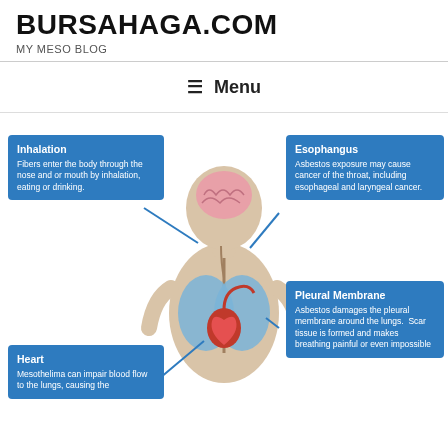BURSAHAGA.COM
MY MESO BLOG
≡ Menu
[Figure (infographic): Medical infographic showing a human body cross-section illustration with blue callout boxes pointing to different body parts affected by asbestos exposure. Labels include Inhalation, Esophangus, Pleural Membrane, and Heart with descriptions of asbestos-related health effects.]
Inhalation - Fibers enter the body through the nose and or mouth by inhalation, eating or drinking.
Esophangus - Asbestos exposure may cause cancer of the throat, including esophageal and laryngeal cancer.
Pleural Membrane - Asbestos damages the pleural membrane around the lungs. Scar tissue is formed and makes breathing painful or even impossible
Heart - Mesothelima can impair blood flow to the lungs, causing the